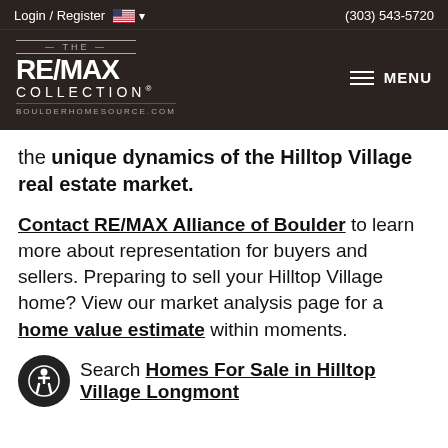Login / Register  🇺🇸 ▾  (303) 543-5720
[Figure (logo): RE/MAX Collection logo with text THE RE/MAX COLLECTION BOULDERHOMESOURCE.COM on dark background, with MENU hamburger icon on the right]
the unique dynamics of the Hilltop Village real estate market.
Contact RE/MAX Alliance of Boulder to learn more about representation for buyers and sellers. Preparing to sell your Hilltop Village home? View our market analysis page for a home value estimate within moments.
Search Homes For Sale in Hilltop Village Longmont